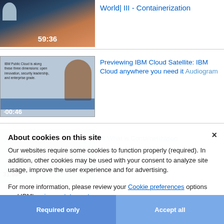[Figure (screenshot): Video thumbnail showing a person silhouette with mountain/landscape background, timestamp 59:36]
World|III - Containerization
[Figure (screenshot): Video/audiogram thumbnail showing IBM Public Cloud text with person face, timestamp 00:46, waveform at bottom]
Previewing IBM Cloud Satellite: IBM Cloud anywhere you need it Audiogram
[Figure (screenshot): Partially visible video thumbnail, timestamp 31:09]
III What is Containerization
About cookies on this site
Our websites require some cookies to function properly (required). In addition, other cookies may be used with your consent to analyze site usage, improve the user experience and for advertising.
For more information, please review your Cookie preferences options and IBM's privacy statement.
Required only
Accept all
What is Microservices